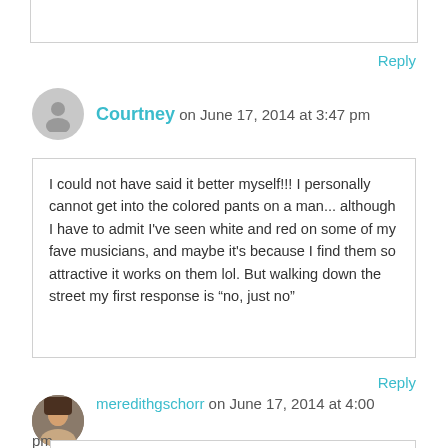Reply
Courtney on June 17, 2014 at 3:47 pm
I could not have said it better myself!!! I personally cannot get into the colored pants on a man... although I have to admit I've seen white and red on some of my fave musicians, and maybe it's because I find them so attractive it works on them lol. But walking down the street my first response is “no, just no”
Reply
meredithgschorr on June 17, 2014 at 4:00 pm